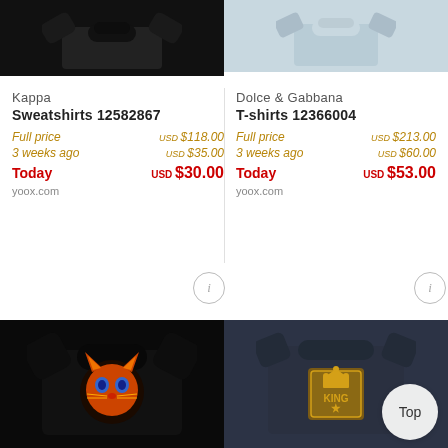[Figure (photo): Black sweatshirt product image (top left)]
[Figure (photo): Light blue/grey t-shirt product image (top right)]
Kappa
Sweatshirts 12582867
Full price   USD $118.00
3 weeks ago  USD $35.00
Today        USD $30.00
yoox.com
Dolce & Gabbana
T-shirts 12366004
Full price   USD $213.00
3 weeks ago  USD $60.00
Today        USD $53.00
yoox.com
[Figure (photo): Black sweatshirt with colorful fox/cat graphic (bottom left)]
[Figure (photo): Dark navy t-shirt with King crown badge graphic (bottom right)]